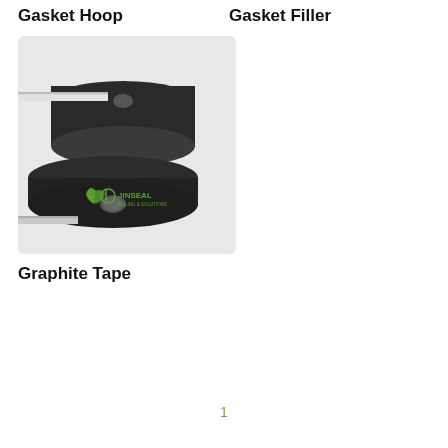Gasket Hoop
Gasket Filler
[Figure (photo): Two black graphite tape rolls/spools with white graphite tape strip, JINSEAL brand logo visible in green on the front spool.]
Graphite Tape
1